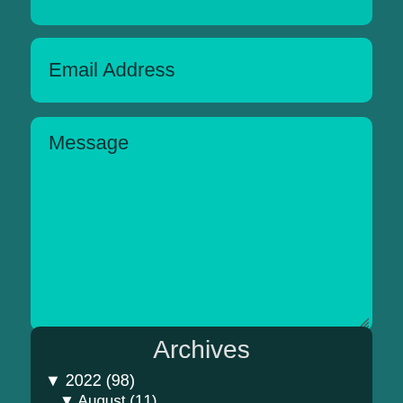Email Address
Message
5 + 3 =
Send
Archives
▼ 2022 (98)
▼ August (11)
Living Epistles - Part 7